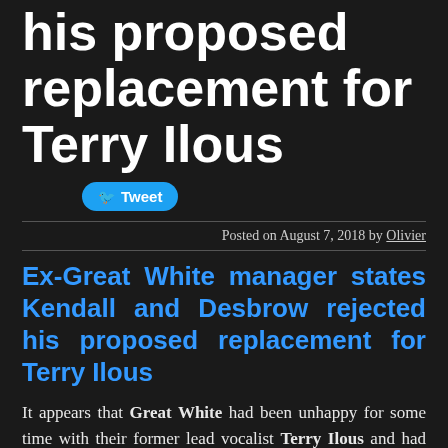his proposed replacement for Terry Ilous
Tweet
Posted on August 7, 2018 by Olivier
Ex-Great White manager states Kendall and Desbrow rejected his proposed replacement for Terry Ilous
It appears that Great White had been unhappy for some time with their former lead vocalist Terry Ilous and had been contemplating getting a replacement for some time based on an “open